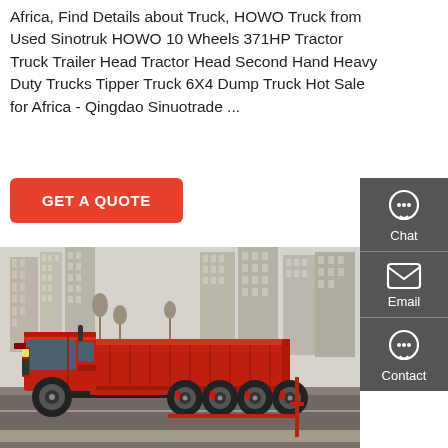Africa, Find Details about Truck, HOWO Truck from Used Sinotruk HOWO 10 Wheels 371HP Tractor Truck Trailer Head Tractor Head Second Hand Heavy Duty Trucks Tipper Truck 6X4 Dump Truck Hot Sale for Africa - Qingdao Sinuotrade ...
GET A QUOTE
[Figure (screenshot): Sidebar with Chat, Email, and Contact icons on a dark grey background]
[Figure (photo): Photo of a red HOWO dump truck parked on a road with tall buildings in the background]